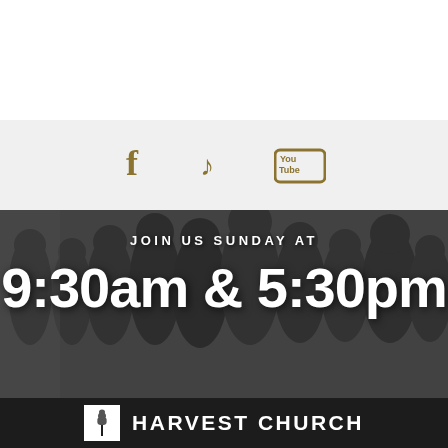[Figure (photo): White top section of the page]
[Figure (infographic): Light gray bar with social media icons: Facebook (f), Music note, YouTube logo in dark gold/olive color]
[Figure (photo): Black and white photo of a crowd of people gathering, likely at a church entrance]
JOIN US SUNDAY AT
9:30am & 5:30pm
[Figure (logo): Dark background bar with Harvest Church logo: white square containing wheat/grain icon, followed by HARVEST CHURCH text in white bold caps]